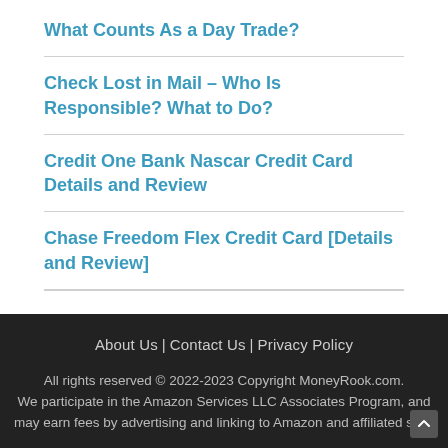What Counts As a Day Trade?
Check Lost in Mail – Who Is Responsible? What to Do?
Credit One Bank Nascar Credit Card Details and Review
Chase Freedom Flex Credit Card [Details and Review]
About Us | Contact Us | Privacy Policy
All rights reserved © 2022-2023 Copyright MoneyRook.com.
We participate in the Amazon Services LLC Associates Program, and may earn fees by advertising and linking to Amazon and affiliated sites